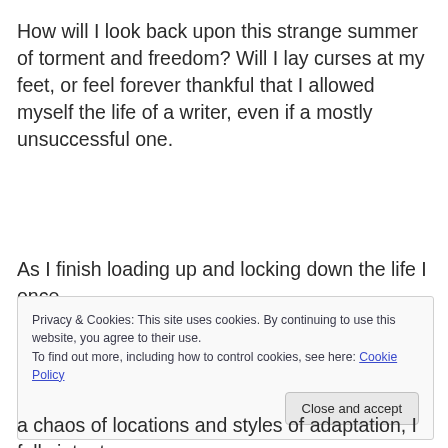How will I look back upon this strange summer of torment and freedom? Will I lay curses at my feet, or feel forever thankful that I allowed myself the life of a writer, even if a mostly unsuccessful one.
As I finish loading up and locking down the life I once
Privacy & Cookies: This site uses cookies. By continuing to use this website, you agree to their use. To find out more, including how to control cookies, see here: Cookie Policy
a chaos of locations and styles of adaptation, I fully intent